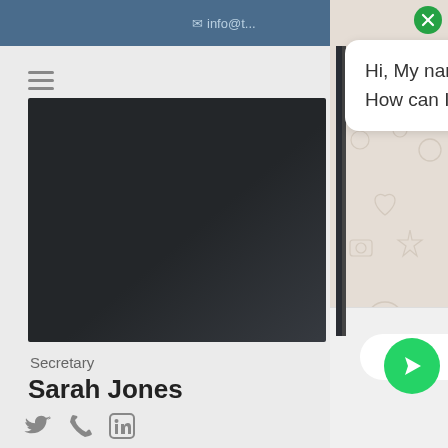info@t...
[Figure (screenshot): WhatsApp chat widget overlay on a webpage showing a profile page for Secretary Sarah Jones. The chat shows a message bubble: 'Hi, My name is Christian. How can I help you? :)' with a WhatsApp-style decorative background, text input field, and green send button. A green close (X) button appears at top right. The underlying webpage shows a hamburger menu, a dark profile photo placeholder, the title 'Secretary', name 'Sarah Jones', and social media icons (Twitter, Phone, LinkedIn).]
Secretary
Sarah Jones